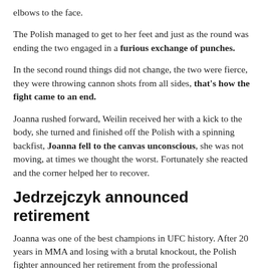elbows to the face.
The Polish managed to get to her feet and just as the round was ending the two engaged in a furious exchange of punches.
In the second round things did not change, the two were fierce, they were throwing cannon shots from all sides, that's how the fight came to an end.
Joanna rushed forward, Weilin received her with a kick to the body, she turned and finished off the Polish with a spinning backfist, Joanna fell to the canvas unconscious, she was not moving, at times we thought the worst. Fortunately she reacted and the corner helped her to recover.
Jedrzejczyk announced retirement
Joanna was one of the best champions in UFC history. After 20 years in MMA and losing with a brutal knockout, the Polish fighter announced her retirement from the professional